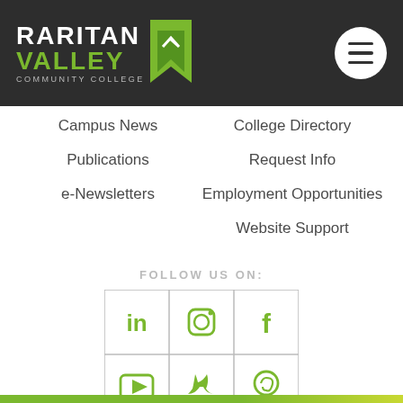[Figure (logo): Raritan Valley Community College logo with white and green text and green bookmark ribbon icon on dark background, with white circular hamburger menu button]
Campus News
Publications
e-Newsletters
College Directory
Request Info
Employment Opportunities
Website Support
FOLLOW US ON:
[Figure (infographic): 3x2 grid of social media icons in green: LinkedIn, Instagram, Facebook (top row); YouTube, Twitter, Pinterest (bottom row)]